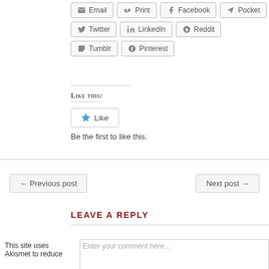[Figure (other): Social share buttons: Email, Print, Facebook, Pocket, Twitter, LinkedIn, Reddit, Tumblr, Pinterest]
Like this:
[Figure (other): Like button widget with star icon, text 'Be the first to like this.']
← Previous post
Next post →
LEAVE A REPLY
This site uses Akismet to reduce
Enter your comment here...